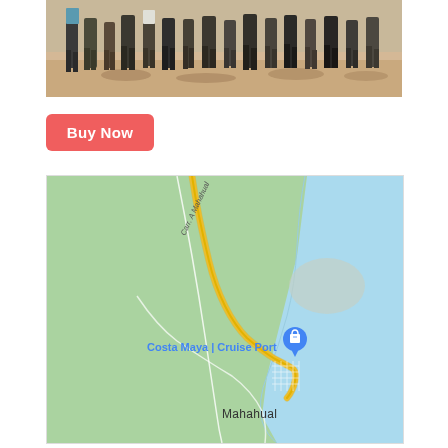[Figure (photo): Group of people standing on a sandy beach, photo cropped to show lower bodies and sand with shadows]
[Figure (other): Red Buy Now button]
[Figure (map): Google Maps screenshot showing Costa Maya Cruise Port and Mahahual area in Mexico, with a yellow road (Carr. A Mahahual) leading to the port, blue Caribbean Sea on the right, and a blue map pin marker for Costa Maya Cruise Port]